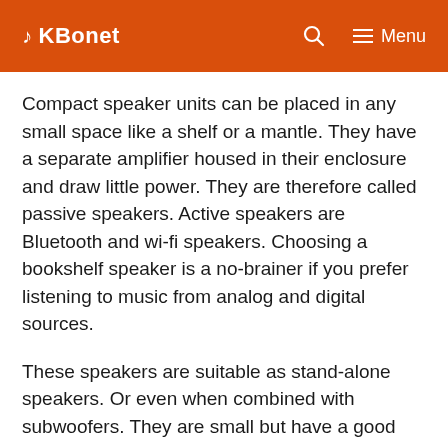KBonet  🔍  ≡ Menu
Compact speaker units can be placed in any small space like a shelf or a mantle. They have a separate amplifier housed in their enclosure and draw little power. They are therefore called passive speakers. Active speakers are Bluetooth and wi-fi speakers. Choosing a bookshelf speaker is a no-brainer if you prefer listening to music from analog and digital sources.
These speakers are suitable as stand-alone speakers. Or even when combined with subwoofers. They are small but have a good bass effect.